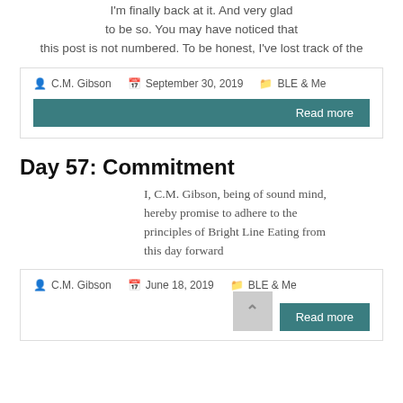I'm finally back at it. And very glad to be so. You may have noticed that this post is not numbered. To be honest, I've lost track of the
C.M. Gibson   September 30, 2019   BLE & Me
Read more
Day 57: Commitment
I, C.M. Gibson, being of sound mind, hereby promise to adhere to the principles of Bright Line Eating from this day forward
C.M. Gibson   June 18, 2019   BLE & Me
Read more